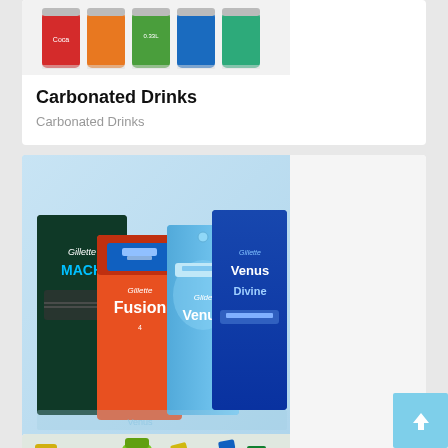[Figure (photo): Partial top of a product card showing colorful carbonated drink cans (Coca-Cola, orange, blue/green varieties) arranged in a row on a light background]
Carbonated Drinks
Carbonated Drinks
[Figure (photo): Gillette shaving product packages including Mach3, Fusion, Venus, and Venus Divine razor blade cartridges arranged on a light blue background]
Blades & Cartridges
Blades & Cartridges
[Figure (photo): Partial view of cleaning and household product bottles at the bottom of the page, partially cut off]